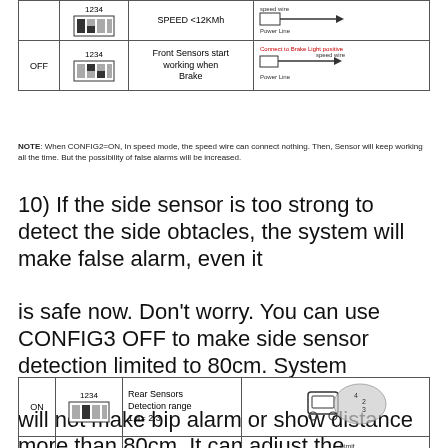|  | Switch | Description | Wiring |
| --- | --- | --- | --- |
| OFF | 1234 switch image | Front Sensors start working when Brake | Connect to Brake Light positive / speed wire / Power Line |
NOTE: When CONFIG2=ON, In speed mode, the speed wire can connect nothing. Then, Sensor will keep working all the time. But the possibility of false alarms will be increased.
10) If the side sensor is too strong to detect the side obtacles, the system will make false alarm, even it is safe now. Don't worry. You can use CONFIG3 OFF to make side sensor detection limited to 80cm. System will not make bip alarm or show distance more than 80cm. It can adjust the annoying bip sound.
|  | Switch | Description | Diagram |
| --- | --- | --- | --- |
| ON | 1234 switch | Rear Sensors Detection range 1,4= 2,3 | car with full detection cloud |
| OFF | 1234 switch | Rear Sensors Detection range 1,4<80cm (limit) | car with limited detection |